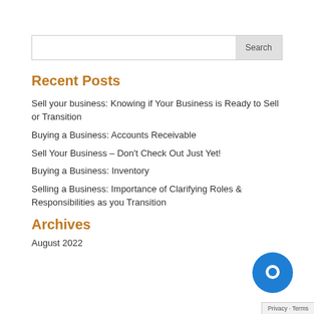Recent Posts
Sell your business: Knowing if Your Business is Ready to Sell or Transition
Buying a Business: Accounts Receivable
Sell Your Business – Don't Check Out Just Yet!
Buying a Business: Inventory
Selling a Business: Importance of Clarifying Roles & Responsibilities as you Transition
Archives
August 2022